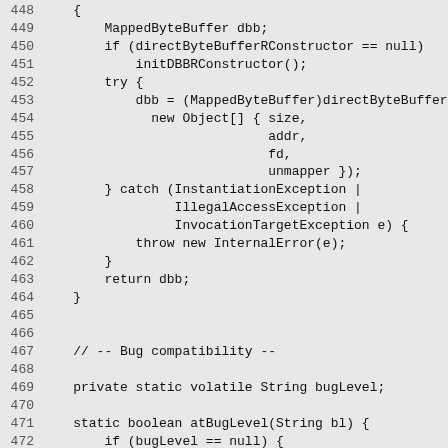Code listing lines 448-477: Java source code snippet showing MappedByteBuffer dbb initialization, try/catch block, bug compatibility comment, and atBugLevel method.